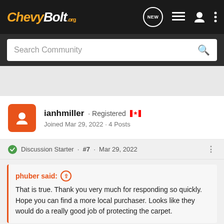ChevyBolt.org
Search Community
ianhmiller · Registered
Joined Mar 29, 2022 · 4 Posts
Discussion Starter · #7 · Mar 29, 2022
phuber said:
That is true. Thank you very much for responding so quickly. Hope you can find a more local purchaser. Looks like they would do a really good job of protecting the carpet.